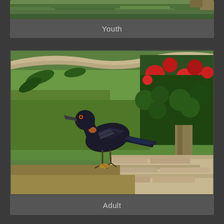[Figure (photo): Partial view of a grassy area, top strip of Youth photo panel]
Youth
[Figure (photo): A black bird (adult roadrunner or similar species) standing on grass near stone steps and red flowering plants with tree branches overhead]
Adult